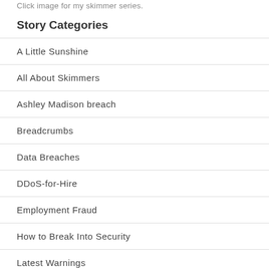Click image for my skimmer series.
Story Categories
A Little Sunshine
All About Skimmers
Ashley Madison breach
Breadcrumbs
Data Breaches
DDoS-for-Hire
Employment Fraud
How to Break Into Security
Latest Warnings
Ne'er-Do-Well News